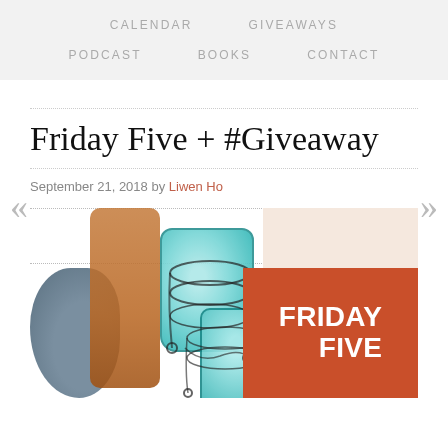CALENDAR   GIVEAWAYS   PODCAST   BOOKS   CONTACT
Friday Five + #Giveaway
September 21, 2018 by Liwen Ho
[Figure (photo): Photo of blue glass mason jars wrapped in wire with decorative pottery, alongside a red/orange box with white text reading FRIDAY FIVE]